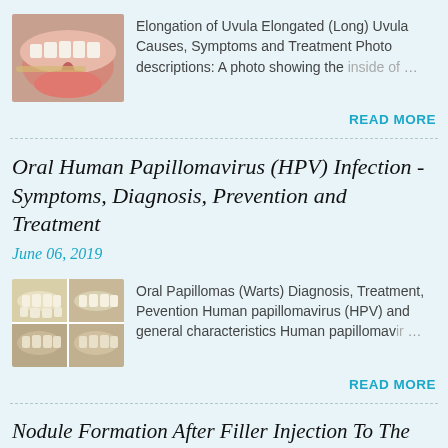[Figure (photo): Close-up photo of inside of mouth showing uvula]
Elongation of Uvula Elongated (Long) Uvula Causes, Symptoms and Treatment Photo descriptions: A photo showing the inside of …
READ MORE
Oral Human Papillomavirus (HPV) Infection - Symptoms, Diagnosis, Prevention and Treatment
June 06, 2019
[Figure (photo): Grid of four dental/oral photos showing HPV warts]
Oral Papillomas (Warts) Diagnosis, Treatment, Pevention Human papillomavirus (HPV) and general characteristics Human papillomav… …
READ MORE
Nodule Formation After Filler Injection To The Lips